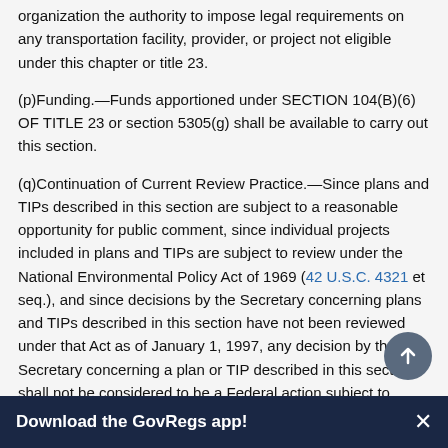organization the authority to impose legal requirements on any transportation facility, provider, or project not eligible under this chapter or title 23.
(p)Funding.—Funds apportioned under SECTION 104(B)(6) OF TITLE 23 or section 5305(g) shall be available to carry out this section.
(q)Continuation of Current Review Practice.—Since plans and TIPs described in this section are subject to a reasonable opportunity for public comment, since individual projects included in plans and TIPs are subject to review under the National Environmental Policy Act of 1969 (42 U.S.C. 4321 et seq.), and since decisions by the Secretary concerning plans and TIPs described in this section have not been reviewed under that Act as of January 1, 1997, any decision by the Secretary concerning a plan or TIP described in this section shall not be considered to be a Federal action subject to review under that Act.
(r)Bi-State Metropolitan Planning Organization.—
(1)Definition of bi-state mpo region.—In this subsection, the
Download the GovRegs app!